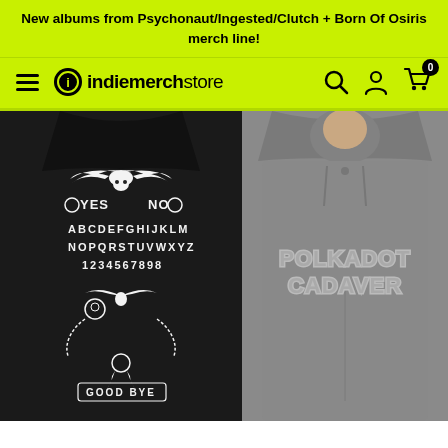New albums from Psychonaut/Ingested/Clutch + Born Of Osiris merch line!
[Figure (screenshot): Indiemerchstore navigation bar with hamburger menu, logo, search icon, account icon, and cart icon with 0 badge]
[Figure (photo): Two merchandise hoodies side by side: left shows a black hoodie with a Ouija board style graphic featuring bat, YES/NO, alphabet, numbers 1234567898, and GOOD BYE text; right shows a grey hoodie with POLKADOT CADAVER text logo]